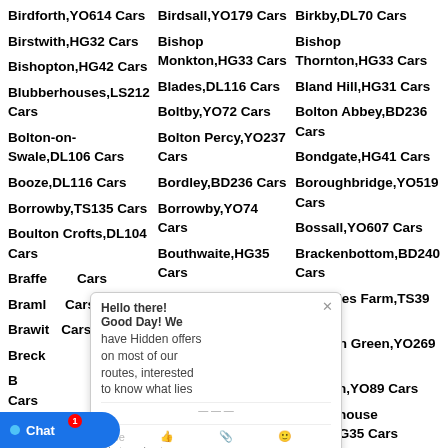Birdforth,YO614 Cars
Birdsall,YO179 Cars
Birkby,DL70 Cars
Birstwith,HG32 Cars
Bishop Monkton,HG33 Cars
Bishop Thornton,HG33 Cars
Bishopton,HG42 Cars
Blades,DL116 Cars
Bland Hill,HG31 Cars
Blubberhouses,LS212 Cars
Boltby,YO72 Cars
Bolton Abbey,BD236 Cars
Bolton-on-Swale,DL106 Cars
Bolton Percy,YO237 Cars
Bondgate,HG41 Cars
Booze,DL116 Cars
Bordley,BD236 Cars
Boroughbridge,YO519 Cars
Borrowby,TS135 Cars
Borrowby,YO74 Cars
Bossall,YO607 Cars
Boulton Crofts,DL104 Cars
Bouthwaite,HG35 Cars
Brackenbottom,BD240 Cars
Brafferton Cars
Braidley,DL84 Cars
Brambles Farm,TS39 Cars
Bramleys Cars
Brandsby,YO614 Cars
Branton Green,YO269 Cars
Brawith Cars
Braythorn,LS212 Cars
Brayton,YO89 Cars
Breckenbrough Cars
Bridge Hewick,HG45 Cars
Bridgehouse Gate,HG35 Cars
Brokenborough,HG31 Cars
Brokes,DL116 Cars
Brompton,DL62 Cars